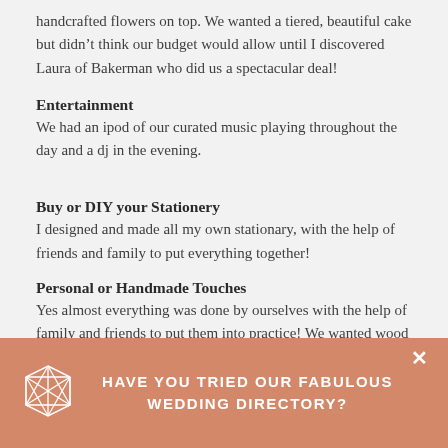handcrafted flowers on top. We wanted a tiered, beautiful cake but didn’t think our budget would allow until I discovered Laura of Bakerman who did us a spectacular deal!
Entertainment
We had an ipod of our curated music playing throughout the day and a dj in the evening.
Buy or DIY your Stationery
I designed and made all my own stationary, with the help of friends and family to put everything together!
Personal or Handmade Touches
Yes almost everything was done by ourselves with the help of family and friends to put them into practice! We wanted wood
HAVE YOU TRIED OUR FABULOUS WEDDING DIRECTORY?